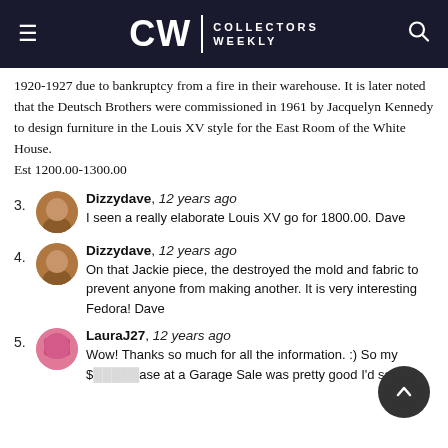CW | COLLECTORS WEEKLY
1920-1927 due to bankruptcy from a fire in their warehouse. It is later noted that the Deutsch Brothers were commissioned in 1961 by Jacquelyn Kennedy to design furniture in the Louis XV style for the East Room of the White House.
Est 1200.00-1300.00
3. Dizzydave, 12 years ago
I seen a really elaborate Louis XV go for 1800.00. Dave
4. Dizzydave, 12 years ago
On that Jackie piece, the destroyed the mold and fabric to prevent anyone from making another. It is very interesting Fedora! Dave
5. LauraJ27, 12 years ago
Wow! Thanks so much for all the information. :) So my $[purchase] at a Garage Sale was pretty good I'd say!! :)